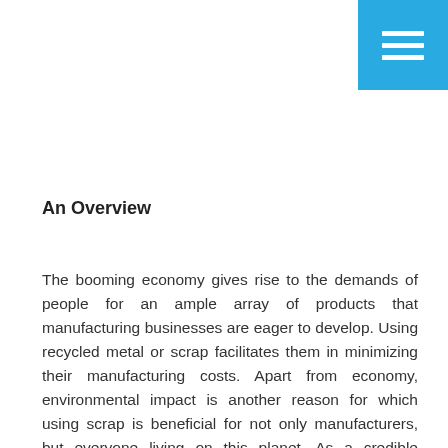[Figure (other): Blue hamburger menu button in top-right corner with three white horizontal lines]
An Overview
The booming economy gives rise to the demands of people for an ample array of products that manufacturing businesses are eager to develop. Using recycled metal or scrap facilitates them in minimizing their manufacturing costs. Apart from economy, environmental impact is another reason for which using scrap is beneficial for not only manufacturers, but everyone living on this planet. As a credible supplier and trader, we, Shyamsundar Plasto, are trusted for making alliance with experienced and reputed vendors to have access to an extensive scrap variety, which